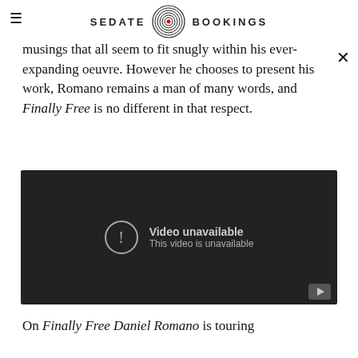SEDATE BOOKINGS
musings that all seem to fit snugly within his ever-expanding oeuvre. However he chooses to present his work, Romano remains a man of many words, and Finally Free is no different in that respect.
[Figure (screenshot): Embedded YouTube video player showing 'Video unavailable — This video is unavailable' error message on a dark background.]
On Finally Free Daniel Romano is touring